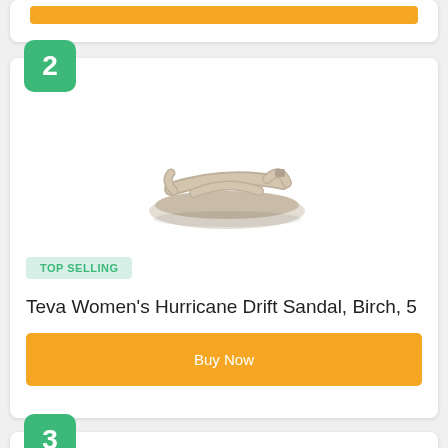[Figure (photo): Partial top card with orange Buy Now bar visible at top]
[Figure (photo): Teva Women's Hurricane Drift Sandal in Birch color, shown from top-down angle]
TOP SELLING
Teva Women's Hurricane Drift Sandal, Birch, 5
Buy Now
[Figure (photo): Partial card 3 showing colorful socks/athletic wear product images]